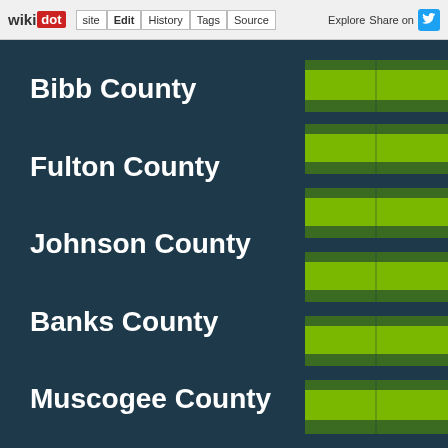wikidot | site Edit History Tags Source Explore Share on
Bibb County
Fulton County
Johnson County
Banks County
Muscogee County
[Figure (bar-chart): Horizontal striped bar chart with alternating green and dark teal bands corresponding to county rows on the left panel]